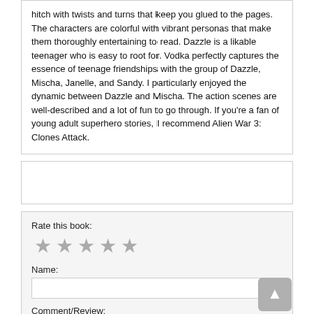hitch with twists and turns that keep you glued to the pages. The characters are colorful with vibrant personas that make them thoroughly entertaining to read. Dazzle is a likable teenager who is easy to root for. Vodka perfectly captures the essence of teenage friendships with the group of Dazzle, Mischa, Janelle, and Sandy. I particularly enjoyed the dynamic between Dazzle and Mischa. The action scenes are well-described and a lot of fun to go through. If you're a fan of young adult superhero stories, I recommend Alien War 3: Clones Attack.
Rate this book:
Name:
Comment/Review: